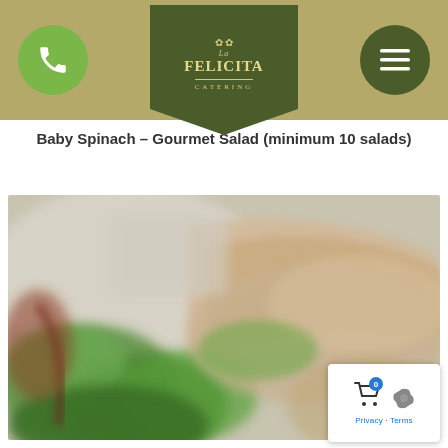La Felicita Catering — navigation header with phone button, logo, and menu button
Baby Spinach – Gourmet Salad (minimum 10 salads)
[Figure (photo): Blurred/soft-focus photograph of a gourmet spinach salad with green leafy spinach and what appears to be sandwiches or wraps in the background, warm muted tones]
Privacy · Terms